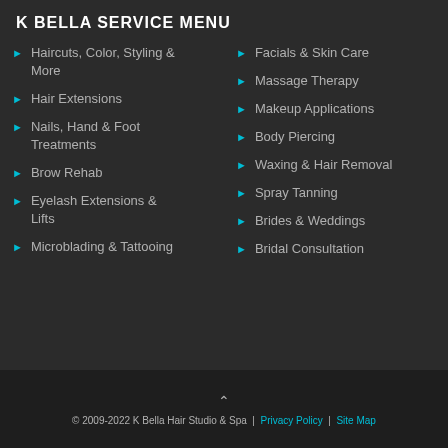K BELLA SERVICE MENU
Haircuts, Color, Styling & More
Hair Extensions
Nails, Hand & Foot Treatments
Brow Rehab
Eyelash Extensions & Lifts
Microblading & Tattooing
Facials & Skin Care
Massage Therapy
Makeup Applications
Body Piercing
Waxing & Hair Removal
Spray Tanning
Brides & Weddings
Bridal Consultation
© 2009-2022 K Bella Hair Studio & Spa | Privacy Policy | Site Map